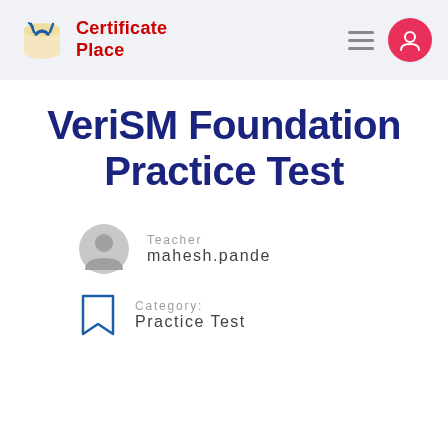Certificate Place
VeriSM Foundation Practice Test
Teacher mahesh.pande
Category: Practice Test